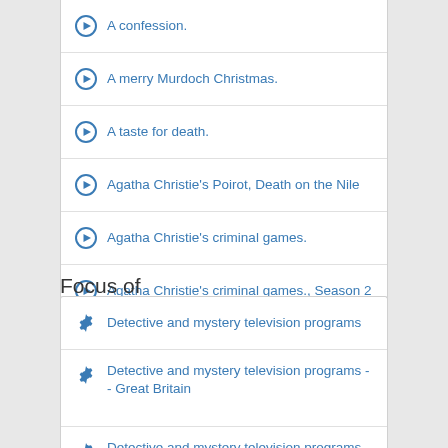A confession.
A merry Murdoch Christmas.
A taste for death.
Agatha Christie's Poirot, Death on the Nile
Agatha Christie's criminal games.
Agatha Christie's criminal games., Season 2
Focus of
Detective and mystery television programs
Detective and mystery television programs -- Great Britain
Detective and mystery television programs -- Great Britain
Detective and mystery television programs -- United States